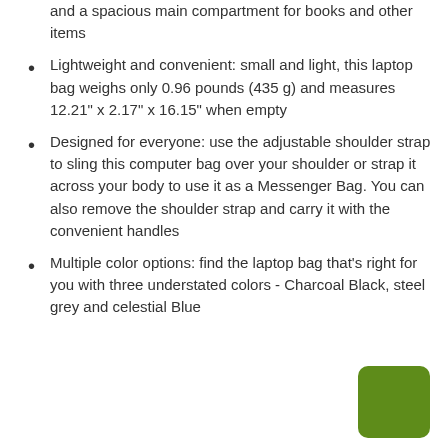and a spacious main compartment for books and other items
Lightweight and convenient: small and light, this laptop bag weighs only 0.96 pounds (435 g) and measures 12.21" x 2.17" x 16.15" when empty
Designed for everyone: use the adjustable shoulder strap to sling this computer bag over your shoulder or strap it across your body to use it as a Messenger Bag. You can also remove the shoulder strap and carry it with the convenient handles
Multiple color options: find the laptop bag that's right for you with three understated colors - Charcoal Black, steel grey and celestial Blue
[Figure (other): Green rounded rectangle button/icon]